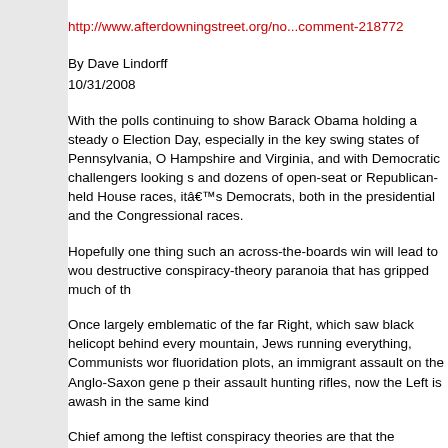http://www.afterdowningstreet.org/no...comment-218772
By Dave Lindorff
10/31/2008
With the polls continuing to show Barack Obama holding a steady lead heading into Election Day, especially in the key swing states of Pennsylvania, Ohio, New Hampshire and Virginia, and with Democratic challengers looking strong in Senate and dozens of open-seat or Republican-held House races, itâ€™s looking good for Democrats, both in the presidential and the Congressional races.
Hopefully one thing such an across-the-boards win will lead to would be an end to the destructive conspiracy-theory paranoia that has gripped much of th...
Once largely emblematic of the far Right, which saw black helicopters lurking behind every mountain, Jews running everything, Communists worrying about fluoridation plots, an immigrant assault on the Anglo-Saxon gene pool and feds after their assault hunting rifles, now the Left is awash in the same kind o...
Chief among the leftist conspiracy theories are that the Bush/Chen... ordered the 9-11 attacks, that the current administration has plans to cancel or ar... institute martial law, that there are plans for a â€œfalse flagâ€ atta... be used to justify an all-out war against Iran, that there is a false-fla... US set for before the election, designed to throw the vote towards J... meltdown and subsequent bail-out are a deliberate scheme to stea... them into Republican pockets, and that Republican operatives hav... plan to steal the current election by manipulating the results on the...